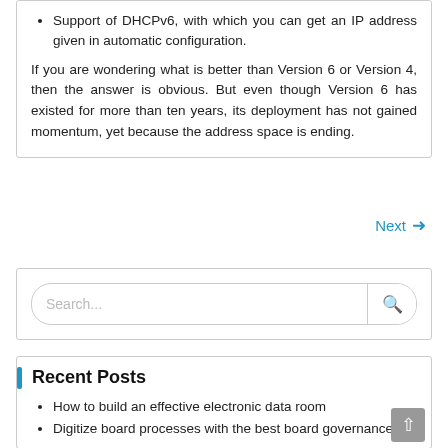Support of DHCPv6, with which you can get an IP address given in automatic configuration.
If you are wondering what is better than Version 6 or Version 4, then the answer is obvious. But even though Version 6 has existed for more than ten years, its deployment has not gained momentum, yet because the address space is ending.
Next →
[Figure (other): Search bar with magnifying glass icon]
Recent Posts
How to build an effective electronic data room
Digitize board processes with the best board governance